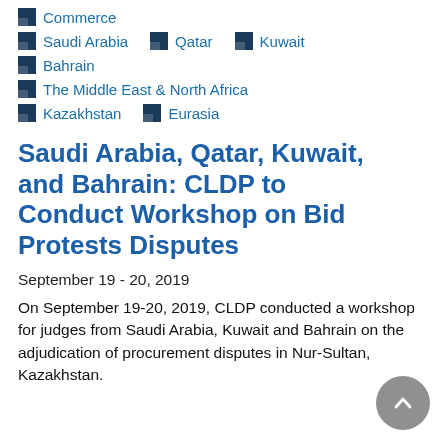Commerce
Saudi Arabia
Qatar
Kuwait
Bahrain
The Middle East & North Africa
Kazakhstan
Eurasia
Saudi Arabia, Qatar, Kuwait, and Bahrain: CLDP to Conduct Workshop on Bid Protests Disputes
September 19 - 20, 2019
On September 19-20, 2019, CLDP conducted a workshop for judges from Saudi Arabia, Kuwait and Bahrain on the adjudication of procurement disputes in Nur-Sultan, Kazakhstan.